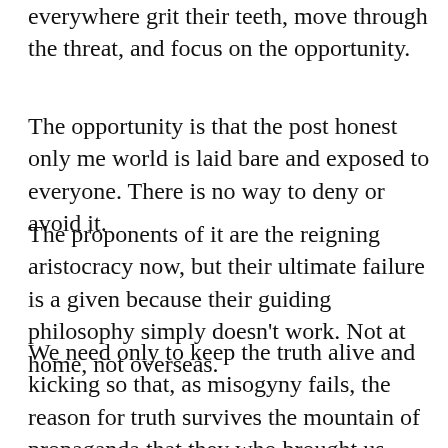everywhere grit their teeth, move through the threat, and focus on the opportunity.
The opportunity is that the post honest only me world is laid bare and exposed to everyone. There is no way to deny or avoid it.
The proponents of it are the reigning aristocracy now, but their ultimate failure is a given because their guiding philosophy simply doesn't work. Not at home, not overseas.
We need only to keep the truth alive and kicking so that, as misogyny fails, the reason for truth survives the mountain of propaganda that they who brought us back to the royalty that we thought that all of our wars had dismissed, erupts.